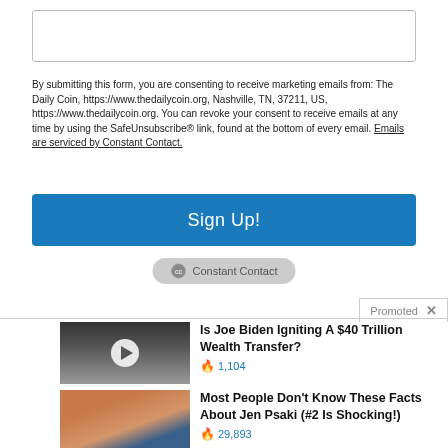[Figure (other): Empty text input form field with border]
By submitting this form, you are consenting to receive marketing emails from: The Daily Coin, https://www.thedailycoin.org, Nashville, TN, 37211, US, https://www.thedailycoin.org. You can revoke your consent to receive emails at any time by using the SafeUnsubscribe® link, found at the bottom of every email. Emails are serviced by Constant Contact.
[Figure (other): Blue Sign Up! button]
[Figure (other): Constant Contact badge/logo button in gray pill shape]
Promoted  ×
[Figure (other): Thumbnail of US Capitol building in black and white with play button overlay]
Is Joe Biden Igniting A $40 Trillion Wealth Transfer?
🔥 1,104
[Figure (photo): Photo of Jen Psaki smiling, red hair, blue background]
Most People Don't Know These Facts About Jen Psaki (#2 Is Shocking!)
🔥 29,893